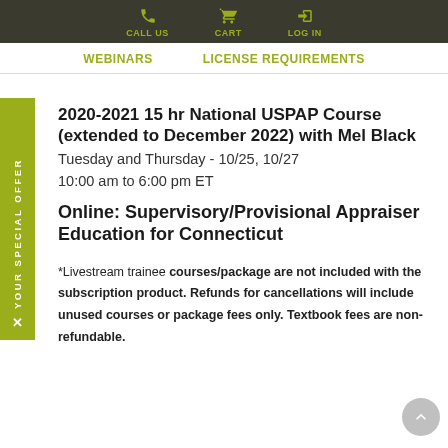CALL US  CART  LOG IN
WEBINARS  LICENSE REQUIREMENTS
2020-2021 15 hr National USPAP Course (extended to December 2022) with Mel Black
Tuesday and Thursday - 10/25, 10/27
10:00 am to 6:00 pm ET
Online: Supervisory/Provisional Appraiser Education for Connecticut
*Livestream trainee courses/package are not included with the subscription product. Refunds for cancellations will include unused courses or package fees only. Textbook fees are non-refundable.